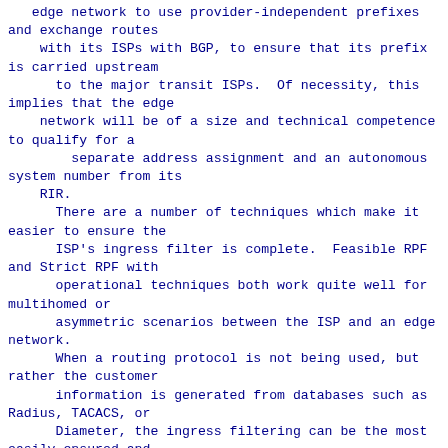edge network to use provider-independent prefixes and exchange routes
    with its ISPs with BGP, to ensure that its prefix is carried upstream
      to the major transit ISPs.  Of necessity, this implies that the edge
    network will be of a size and technical competence to qualify for a
        separate address assignment and an autonomous system number from its
    RIR.
      There are a number of techniques which make it easier to ensure the
      ISP's ingress filter is complete.  Feasible RPF and Strict RPF with
      operational techniques both work quite well for multihomed or
      asymmetric scenarios between the ISP and an edge network.
      When a routing protocol is not being used, but rather the customer
      information is generated from databases such as Radius, TACACS, or
      Diameter, the ingress filtering can be the most easily ensured and
    kept up-to-date with Strict RPF or Ingress Access Lists generated
    automatically from such databases.
4.3.   Send Traffic Using a Provider Prefix Only to That Provider